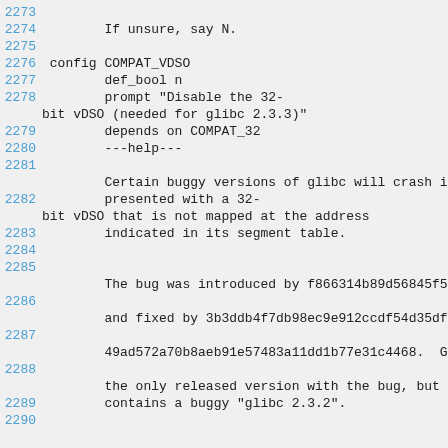2273
2274        If unsure, say N.
2275
2276 config COMPAT_VDSO
2277        def_bool n
2278        prompt "Disable the 32-bit vDSO (needed for glibc 2.3.3)"
2279        depends on COMPAT_32
2280        ---help---
2281
       Certain buggy versions of glibc will crash if
2282        presented with a 32-bit vDSO that is not mapped at the address
2283        indicated in its segment table.
2284
2285
       The bug was introduced by f866314b89d56845f55e
2286
       and fixed by 3b3ddb4f7db98ec9e912ccdf54d35df4a
2287
       49ad572a70b8aeb91e57483a11dd1b77e31c4468.  Gli
2288
       the only released version with the bug, but Op
2289        contains a buggy "glibc 2.3.2".
2290